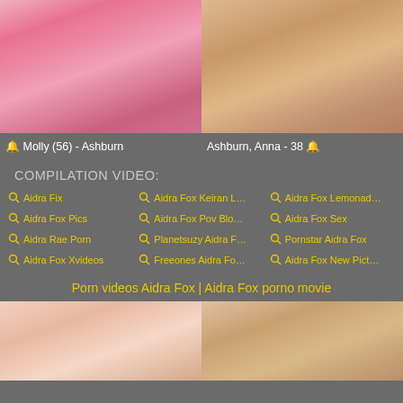[Figure (photo): Two photos side by side: left shows a woman in a pink bra, right shows a close-up of a body]
🔔 Molly (56) - Ashburn
Ashburn, Anna - 38 🔔
COMPILATION VIDEO:
Aidra Fix
Aidra Fox Keiran L...
Aidra Fox Lemonade
Aidra Fox Pics
Aidra Fox Pov Blow
Aidra Fox Sex
Aidra Rae Porn
Planetsuzy Aidra F...
Pornstar Aidra Fox
Aidra Fox Xvideos
Freeones Aidra Fox
Aidra Fox New Pict...
Porn videos Aidra Fox | Aidra Fox porno movie
[Figure (photo): Two photos side by side of women]